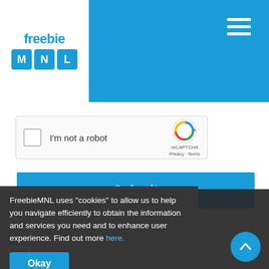[Figure (logo): FreebieMNL logo — white box with 'freebie' text in blue and three blue tiles spelling MNL]
[Figure (screenshot): Hamburger menu icon (three horizontal white lines) on blue header background]
[Figure (screenshot): reCAPTCHA widget with checkbox, 'I'm not a robot' label, reCAPTCHA logo, Privacy and Terms links]
Submit
FreebieMNL uses “cookies” to allow us to help you navigate efficiently to obtain the information and services you need and to enhance user experience. Find out more here.
Okay